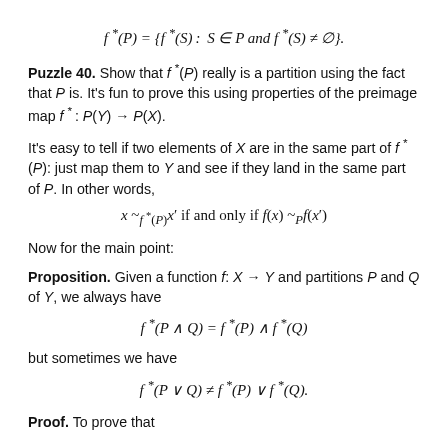Puzzle 40. Show that f*(P) really is a partition using the fact that P is. It's fun to prove this using properties of the preimage map f* : P(Y) → P(X).
It's easy to tell if two elements of X are in the same part of f*(P): just map them to Y and see if they land in the same part of P. In other words,
Now for the main point:
Proposition. Given a function f: X → Y and partitions P and Q of Y, we always have
but sometimes we have
Proof. To prove that